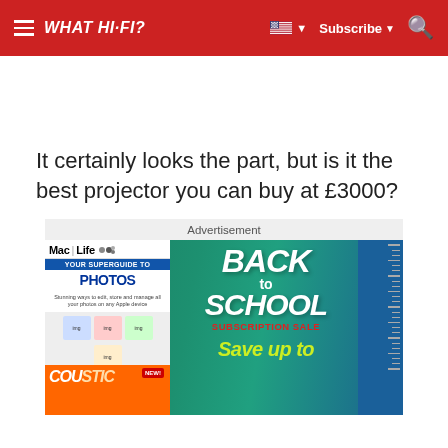WHAT HI-FI?  Subscribe
It certainly looks the part, but is it the best projector you can buy at £3000?
[Figure (screenshot): Advertisement banner for Mac Life / Back to School Subscription Sale featuring Mac Life magazine cover with 'Your Superguide to Photos' headline, Back to School text in white on green background, subscription sale label in red, 'Save up to' in yellow-green text, and school supplies (ruler, pencil) on right side.]